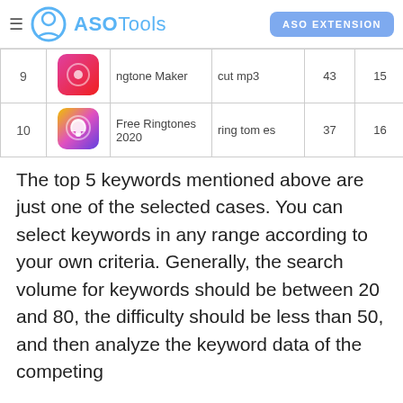ASOTools — ASO EXTENSION
| # | Icon | App Name | Keyword | Vol | Diff |
| --- | --- | --- | --- | --- | --- |
| 9 | [icon] | Ringtone Maker | cut mp3 | 43 | 15 |
| 10 | [icon] | Free Ringtones 2020 | ring tomes | 37 | 16 |
The top 5 keywords mentioned above are just one of the selected cases. You can select keywords in any range according to your own criteria. Generally, the search volume for keywords should be between 20 and 80, the difficulty should be less than 50, and then analyze the keyword data of the competing